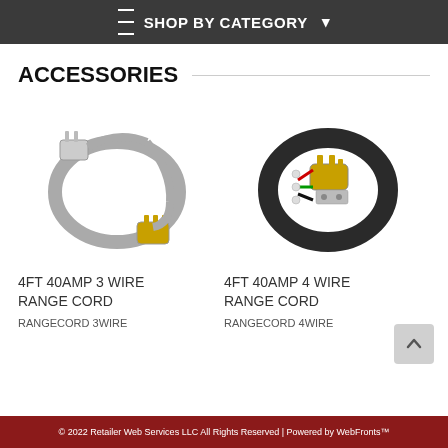≡ SHOP BY CATEGORY ▾
ACCESSORIES
[Figure (photo): Gray 3-wire range cord coiled with gold plug ends]
4ft 40AMP 3 WIRE RANGE CORD
RANGECORD 3WIRE
[Figure (photo): Black 4-wire range cord coiled with gold plug and multiple wire ends]
4ft 40AMP 4 WIRE RANGE CORD
RANGECORD 4WIRE
© 2022 Retailer Web Services LLC All Rights Reserved | Powered by WebFronts™